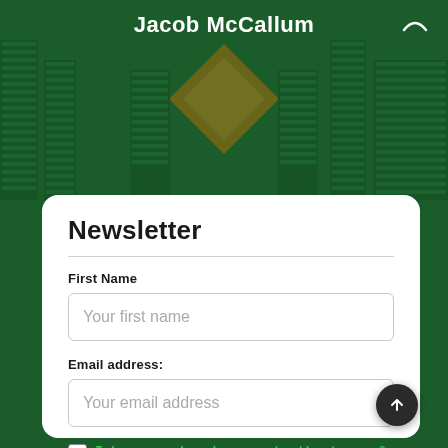Jacob McCallum
Newsletter
First Name
Your first name
Email address:
Your email address
I have read and agree to the terms & conditions